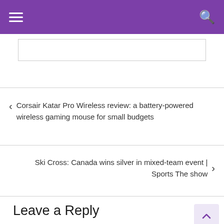Navigation header with hamburger menu and search icon
Corsair Katar Pro Wireless review: a battery-powered wireless gaming mouse for small budgets
Ski Cross: Canada wins silver in mixed-team event | Sports The show
Leave a Reply
Your email address will not be published. Required fields are marked *
Comment *